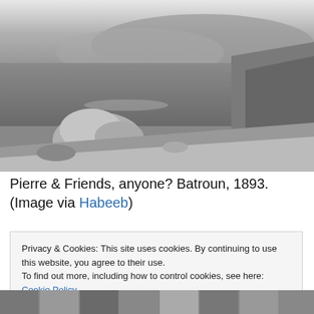[Figure (photo): Black and white historical photograph of rocky coastline at Batroun, Lebanon, 1893. Shows rocks in the foreground, calm sea water, and a hillside with distant buildings in the background.]
Pierre & Friends, anyone? Batroun, 1893. (Image via Habeeb)
Privacy & Cookies: This site uses cookies. By continuing to use this website, you agree to their use.
To find out more, including how to control cookies, see here: Cookie Policy
Close and accept
[Figure (photo): Partial view of a collage or mosaic of smaller images at the bottom of the page.]